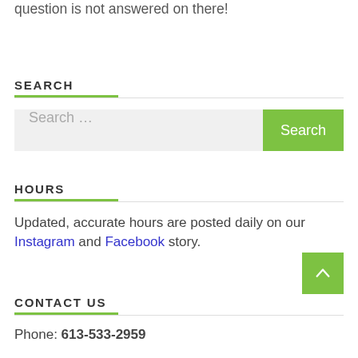Please read the application thoroughly to ensure your question is not answered on there!
SEARCH
Search ...
HOURS
Updated, accurate hours are posted daily on our Instagram and Facebook story.
CONTACT US
Phone: 613-533-2959